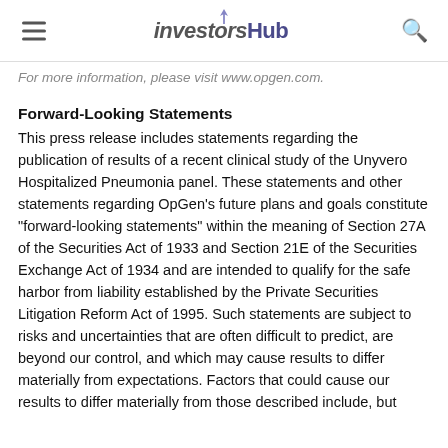InvestorsHub
For more information, please visit www.opgen.com.
Forward-Looking Statements
This press release includes statements regarding the publication of results of a recent clinical study of the Unyvero Hospitalized Pneumonia panel. These statements and other statements regarding OpGen's future plans and goals constitute "forward-looking statements" within the meaning of Section 27A of the Securities Act of 1933 and Section 21E of the Securities Exchange Act of 1934 and are intended to qualify for the safe harbor from liability established by the Private Securities Litigation Reform Act of 1995. Such statements are subject to risks and uncertainties that are often difficult to predict, are beyond our control, and which may cause results to differ materially from expectations. Factors that could cause our results to differ materially from those described include, but